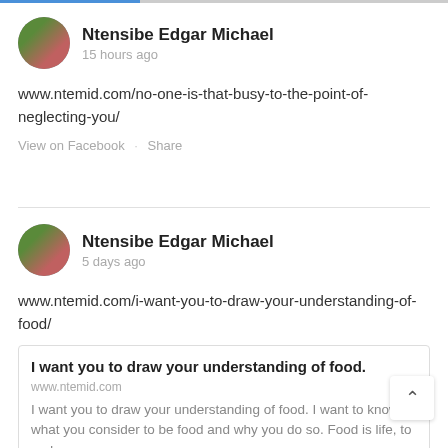[Figure (photo): Circular avatar photo of Ntensibe Edgar Michael, showing two people outdoors]
Ntensibe Edgar Michael
15 hours ago
www.ntemid.com/no-one-is-that-busy-to-the-point-of-neglecting-you/
View on Facebook · Share
[Figure (photo): Circular avatar photo of Ntensibe Edgar Michael, showing two people outdoors]
Ntensibe Edgar Michael
5 days ago
www.ntemid.com/i-want-you-to-draw-your-understanding-of-food/
I want you to draw your understanding of food.
www.ntemid.com
I want you to draw your understanding of food. I want to know what you consider to be food and why you do so. Food is life, to me!
View on Facebook · Share